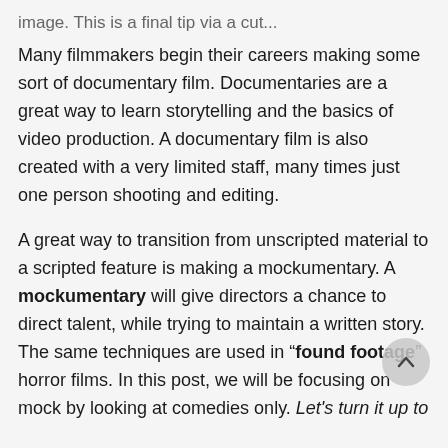image. This is a final tip via a cut...
Many filmmakers begin their careers making some sort of documentary film. Documentaries are a great way to learn storytelling and the basics of video production. A documentary film is also created with a very limited staff, many times just one person shooting and editing.
A great way to transition from unscripted material to a scripted feature is making a mockumentary. A mockumentary will give directors a chance to direct talent, while trying to maintain a written story. The same techniques are used in “found footage” horror films. In this post, we will be focusing on mock by looking at comedies only. Let’s turn it up to